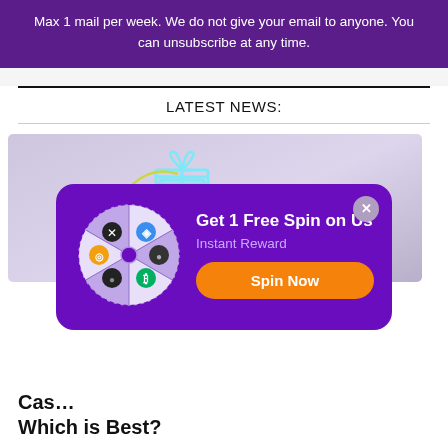Max 1 mail per week. We do not give your email to anyone. You can unsubscribe at any time.
LATEST NEWS:
[Figure (screenshot): Casino-related article thumbnail image showing a gift box icon and a curved arrow on a purple/grey gradient background]
[Figure (infographic): Popup modal with purple background showing a spin wheel with cryptocurrency icons, title 'Get 1 Free Spin on Us', subtitle 'Instant Reward', and an orange 'Spin Now' button. Has an X close button in top right.]
Cas... Which is Best?